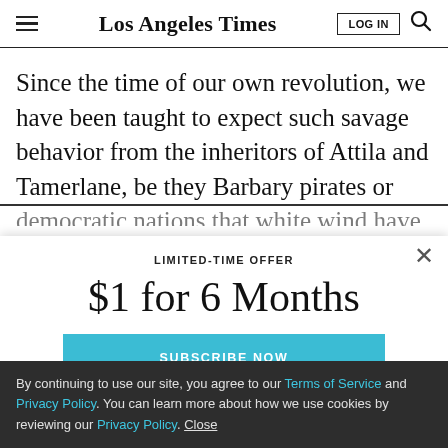Los Angeles Times
Since the time of our own revolution, we have been taught to expect such savage behavior from the inheritors of Attila and Tamerlane, be they Barbary pirates or Nazi Germans -- but not from the armies of
LIMITED-TIME OFFER
$1 for 6 Months
SUBSCRIBE NOW
By continuing to use our site, you agree to our Terms of Service and Privacy Policy. You can learn more about how we use cookies by reviewing our Privacy Policy. Close